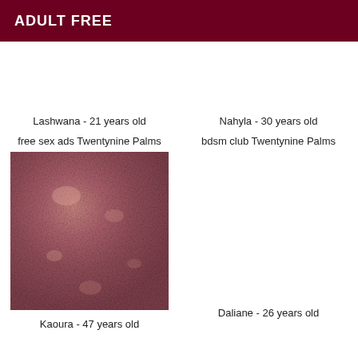ADULT FREE
Lashwana - 21 years old
free sex ads Twentynine Palms
[Figure (photo): Close-up photo of skin texture with pinkish-brown tones]
Kaoura - 47 years old
Nahyla - 30 years old
bdsm club Twentynine Palms
Daliane - 26 years old